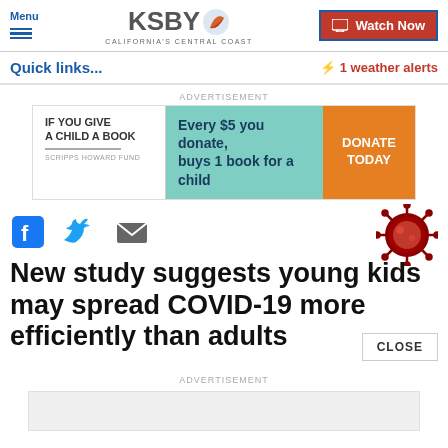Menu | KSBY California's Central Coast | Watch Now
Quick links...
1 weather alerts
ADVERTISEMENT
[Figure (infographic): Advertisement banner: IF YOU GIVE A CHILD A BOOK - SCRIPPS HOWARD FUND. Every $5 you donate, buys 1 book for a child. DONATE TODAY button.]
[Figure (illustration): Social share icons: Facebook, Twitter, Email]
[Figure (photo): COVID-19 coronavirus particle image]
New study suggests young kids may spread COVID-19 more efficiently than adults
ADVERTISEMENT
[Figure (other): Advertisement placeholder box (gray)]
CLOSE